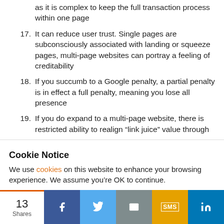as it is complex to keep the full transaction process within one page
17. It can reduce user trust. Single pages are subconsciously associated with landing or squeeze pages, multi-page websites can portray a feeling of creditability
18. If you succumb to a Google penalty, a partial penalty is in effect a full penalty, meaning you lose all presence
19. If you do expand to a multi-page website, there is restricted ability to realign “link juice” value through
Cookie Notice
We use cookies on this website to enhance your browsing experience. We assume you’re OK to continue.
13 Shares | Facebook | Twitter | Email | SMS | LinkedIn